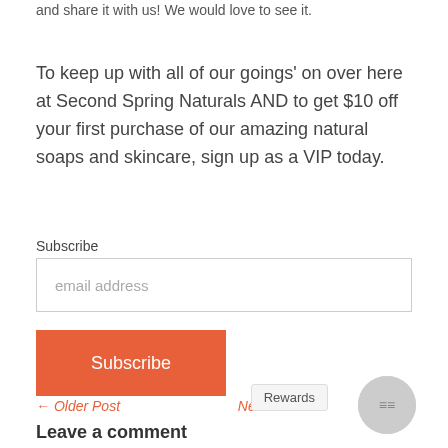and share it with us! We would love to see it.
To keep up with all of our goings' on over here at Second Spring Naturals AND to get $10 off your first purchase of our amazing natural soaps and skincare, sign up as a VIP today.
Subscribe
email address
Subscribe
← Older Post
Newer Post →
Rewards
Leave a comment